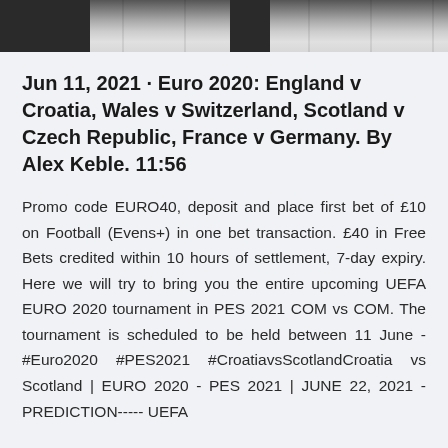[Figure (photo): Partial image strip at top of page showing a dark and grey architectural or sports venue scene, cropped to just the bottom portion]
Jun 11, 2021 · Euro 2020: England v Croatia, Wales v Switzerland, Scotland v Czech Republic, France v Germany. By Alex Keble. 11:56
Promo code EURO40, deposit and place first bet of £10 on Football (Evens+) in one bet transaction. £40 in Free Bets credited within 10 hours of settlement, 7-day expiry. Here we will try to bring you the entire upcoming UEFA EURO 2020 tournament in PES 2021 COM vs COM. The tournament is scheduled to be held between 11 June - #Euro2020 #PES2021 #CroatiavsScotlandCroatia vs Scotland | EURO 2020 - PES 2021 | JUNE 22, 2021 - PREDICTION----- UEFA